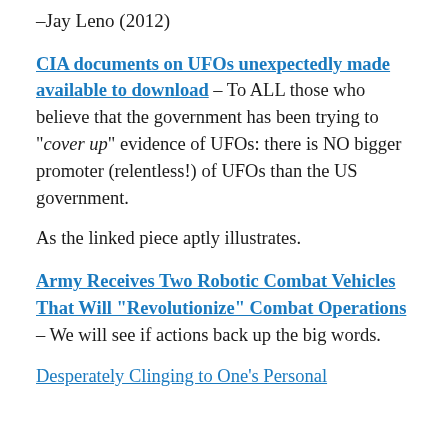–Jay Leno (2012)
CIA documents on UFOs unexpectedly made available to download – To ALL those who believe that the government has been trying to "cover up" evidence of UFOs: there is NO bigger promoter (relentless!) of UFOs than the US government.
As the linked piece aptly illustrates.
Army Receives Two Robotic Combat Vehicles That Will “Revolutionize” Combat Operations – We will see if actions back up the big words.
Desperately Clinging to One’s Personal